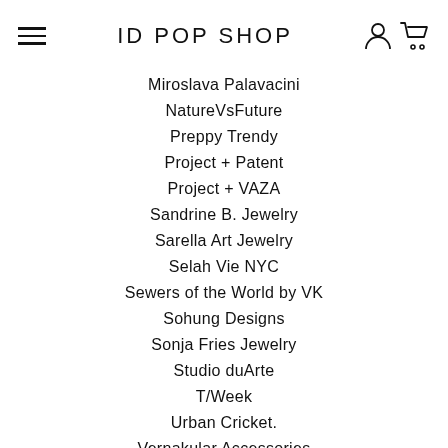ID POP SHOP
Miroslava Palavacini
NatureVsFuture
Preppy Trendy
Project + Patent
Project + VAZA
Sandrine B. Jewelry
Sarella Art Jewelry
Selah Vie NYC
Sewers of the World by VK
Sohung Designs
Sonja Fries Jewelry
Studio duArte
T/Week
Urban Cricket.
Vernakular Accessories